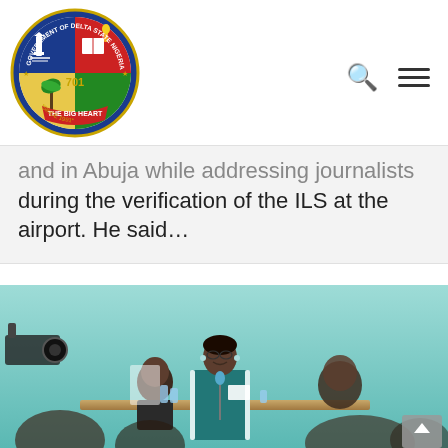[Figure (logo): Government of Delta State Nigeria official circular seal/logo with blue and red quadrants, lighthouse, book, torch, palm tree, and text 'THE BIG HEART' and '*SINCE 1991*']
and in Abuja while addressing journalists during the verification of the ILS at the airport. He said…
[Figure (photo): A woman in a teal/green blazer standing at a podium with a microphone, holding papers, speaking at an event. Two men are seated behind her at a table. Audience members visible in the foreground.]